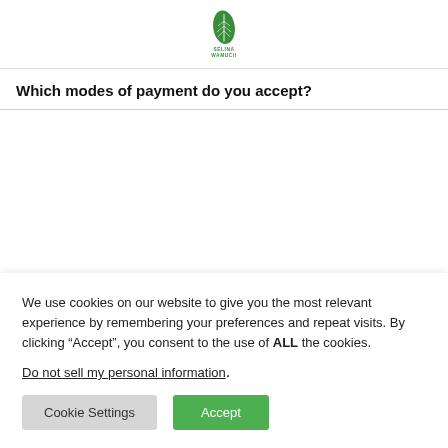SELINA WAMUCII (logo)
Which modes of payment do you accept?
We use cookies on our website to give you the most relevant experience by remembering your preferences and repeat visits. By clicking “Accept”, you consent to the use of ALL the cookies.
Do not sell my personal information.
Cookie Settings   Accept